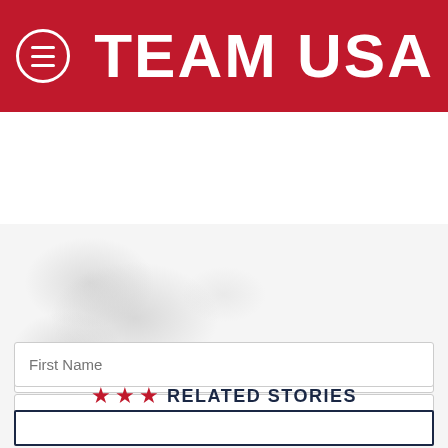TEAM USA
[Figure (photo): Textured background image area, partially visible, light grey with speckled texture pattern]
First Name
Email
SIGN UP FOR TEAMUSA UPDATES
★ ★ ★  RELATED STORIES